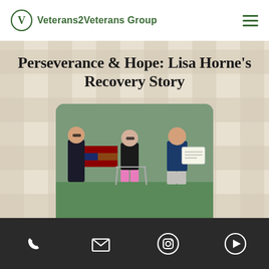Veterans2Veterans Group
Perseverance & Hope: Lisa Horne's Recovery Story
[Figure (photo): Three people standing outdoors. A woman on the left holds a wooden American flag. A woman in the center uses a walker and wears pink shorts and a red shirt. A man on the right holds a framed certificate.]
Phone | Email | Instagram | Play